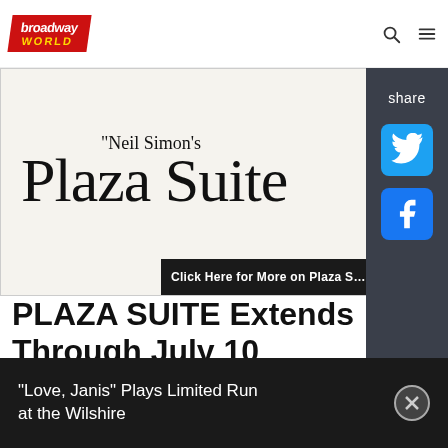Broadway World
[Figure (illustration): Neil Simon's Plaza Suite script-style logo on light beige background, with dark banner overlay reading 'Click Here for More on Plaza S...']
PLAZA SUITE Extends Through July 10
Tickets for the record-breaking run are now on sale through Sunday, July 10 at Hudson Theatre.
"Love, Janis" Plays Limited Run at the Wilshire